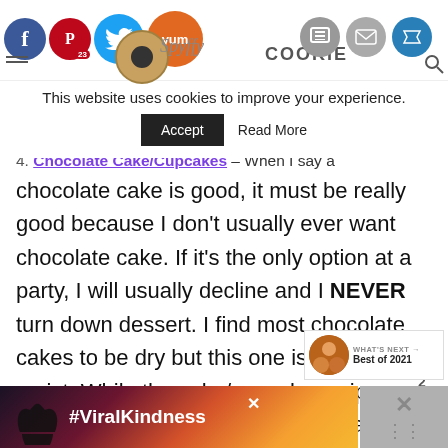[Figure (screenshot): Website header with social media sharing icons (Facebook, Pinterest with 23 badge, Twitter, Yummly, Print, Email, Crown) and Spyffy Cookie logo]
This website uses cookies to improve your experience.
Accept  Read More
4. Chocolate Cake/Cupcakes – When I say a chocolate cake is good, it must be really good because I don't usually ever want chocolate cake. If it's the only option at a party, I will usually decline and I NEVER turn down dessert. I find most chocolate cakes to be dry but this one is rich and moist. While the cake/cupcake recipes has appeared in other forms, the base is always the same usually just with different toppings.
[Figure (screenshot): Bottom advertisement banner with hands forming heart shape and #ViralKindness text on colorful gradient background]